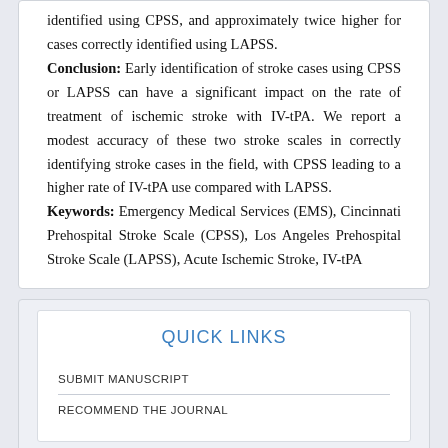identified using CPSS, and approximately twice higher for cases correctly identified using LAPSS.
Conclusion: Early identification of stroke cases using CPSS or LAPSS can have a significant impact on the rate of treatment of ischemic stroke with IV-tPA. We report a modest accuracy of these two stroke scales in correctly identifying stroke cases in the field, with CPSS leading to a higher rate of IV-tPA use compared with LAPSS.
Keywords: Emergency Medical Services (EMS), Cincinnati Prehospital Stroke Scale (CPSS), Los Angeles Prehospital Stroke Scale (LAPSS), Acute Ischemic Stroke, IV-tPA
QUICK LINKS
SUBMIT MANUSCRIPT
RECOMMEND THE JOURNAL